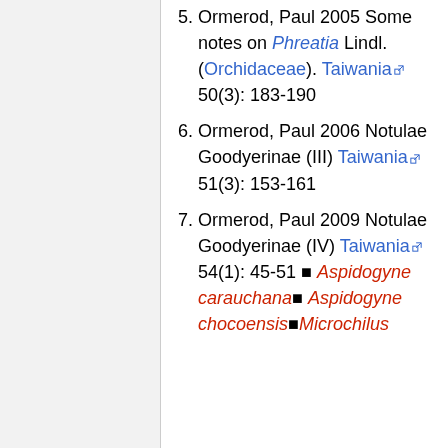5. Ormerod, Paul 2005 Some notes on Phreatia Lindl. (Orchidaceae). Taiwania 50(3): 183-190
6. Ormerod, Paul 2006 Notulae Goodyerinae (III) Taiwania 51(3): 153-161
7. Ormerod, Paul 2009 Notulae Goodyerinae (IV) Taiwania 54(1): 45-51 Aspidogyne carauchana Aspidogyne chocoensis Microchilus